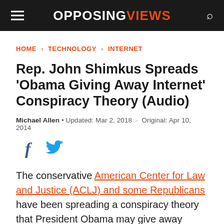OPPOSING VIEWS
HOME > TECHNOLOGY > INTERNET
Rep. John Shimkus Spreads 'Obama Giving Away Internet' Conspiracy Theory (Audio)
Michael Allen • Updated: Mar 2, 2018 · Original: Apr 10, 2014
[Figure (other): Facebook and Twitter share icons]
The conservative American Center for Law and Justice (ACLJ) and some Republicans have been spreading a conspiracy theory that President Obama may give away control of the Internet to